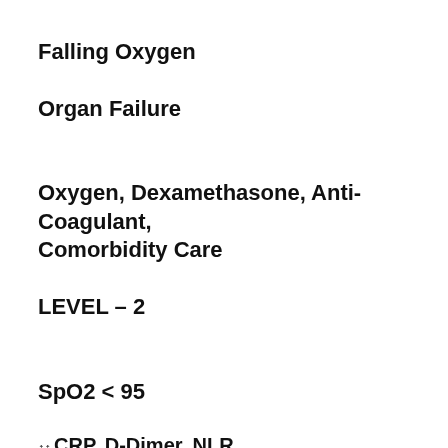Falling Oxygen
Organ Failure
Oxygen, Dexamethasone, Anti-Coagulant, Comorbidity Care
LEVEL – 2
SpO2 < 95
↑↑ CRP, D-Dimer, NLR